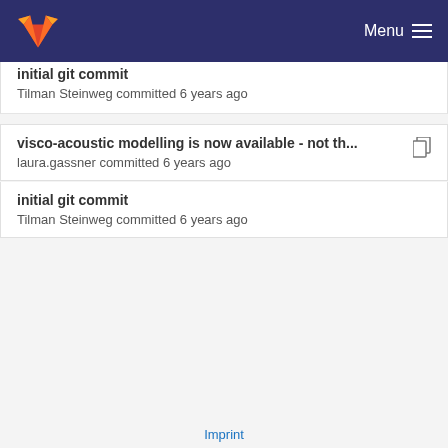Menu
initial git commit
Tilman Steinweg committed 6 years ago
visco-acoustic modelling is now available - not th...
laura.gassner committed 6 years ago
initial git commit
Tilman Steinweg committed 6 years ago
Imprint